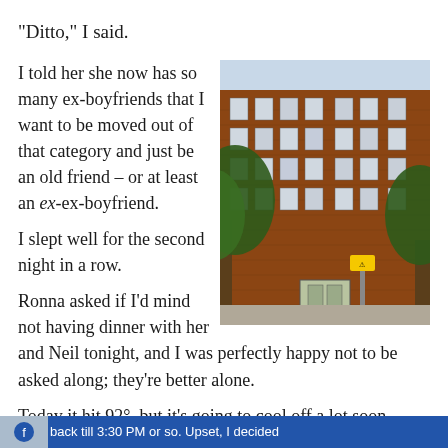“Ditto,” I said.
I told her she now has so many ex-boyfriends that I want to be moved out of that category and just be an old friend – or at least an ex-ex-boyfriend.
[Figure (photo): Photograph of a red-brick apartment building on a city street, with trees in the foreground and multiple stories visible.]
I slept well for the second night in a row.
Ronna asked if I’d mind not having dinner with her and Neil tonight, and I was perfectly happy not to be asked along; they’re better alone.
Today it hit 92°, but it’s going to cool off a lot soon.
I got the 11:01 AM train to Woodmere again, but when I got to the home, they told me Grandma was at the doctor’s and wouldn’t back till 3:30 PM or so. Upset, I decided